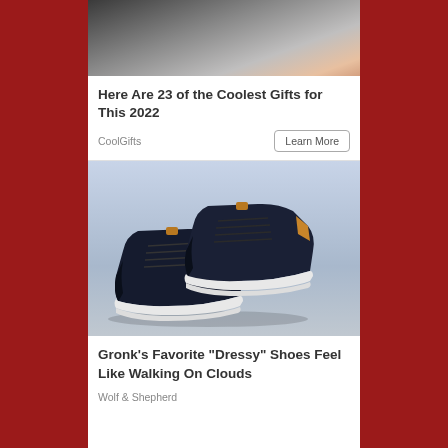[Figure (photo): Close-up photo of dark textured material (leather wallet or similar) with a finger/thumb visible at top right corner]
Here Are 23 of the Coolest Gifts for This 2022
CoolGifts
Learn More
[Figure (photo): Product photo of a pair of dark navy/black Gronk-branded dressy sneakers with tan/brown accents and white soles, displayed on a light gray surface]
Gronk's Favorite "Dressy" Shoes Feel Like Walking On Clouds
Wolf & Shepherd